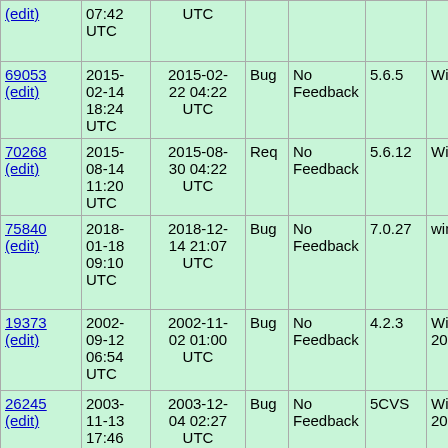| ID | Created | Changed | Type | State | Version | OS | Title |
| --- | --- | --- | --- | --- | --- | --- | --- |
| (edit) | 07:42 UTC | UTC |  |  |  |  | Proced... |
| 69053
(edit) | 2015-02-14 18:24 UTC | 2015-02-22 04:22 UTC | Bug | No Feedback | 5.6.5 | Windows | WideCh... not usin... |
| 70268
(edit) | 2015-08-14 11:20 UTC | 2015-08-30 04:22 UTC | Req | No Feedback | 5.6.12 | Windows | support... DotNet... |
| 75840
(edit) | 2018-01-18 09:10 UTC | 2018-12-14 21:07 UTC | Bug | No Feedback | 7.0.27 | windows | when i COM('W... and cal... exec('c... whoam... |
| 19373
(edit) | 2002-09-12 06:54 UTC | 2002-11-02 01:00 UTC | Bug | No Feedback | 4.2.3 | Windows 2000 | conn.ex... failed fo... and del... access... |
| 26245
(edit) | 2003-11-13 17:46 UTC | 2003-12-04 02:27 UTC | Bug | No Feedback | 5CVS | Windows 2000 | COM H... Script... |
| 30060
(edit) | 2004-09-10 23:49 UTC | 2004-09-28 23:19 UTC | Bug | No Feedback | 5.0.1 | Windows 2000 | Fatal E... when c... COM o... |